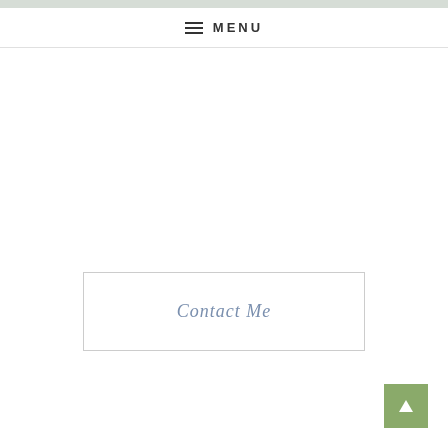MENU
Contact Me
[Figure (other): Scroll to top button with upward arrow triangle on green background]